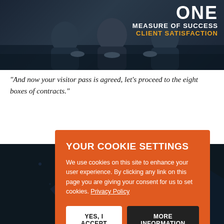[Figure (screenshot): Dark background image showing two people in business attire seated at a table, with overlay text: ONE MEASURE OF SUCCESS / CLIENT SATISFACTION in white and gold]
"And now your visitor pass is agreed, let's proceed to the eight boxes of contracts."
Muc... we a...
[Figure (screenshot): Cookie consent overlay dialog with orange background: YOUR COOKIE SETTINGS - We use cookies on this site to enhance your user experience. By clicking any link on this page you are giving your consent for us to set cookies. Privacy Policy. Buttons: YES, I ACCEPT | MORE INFORMATION]
[Figure (screenshot): Dark background image with rain/water droplets on a surface and overlaid logo text: ONE COHESIVE PARTNERSHIP in white]